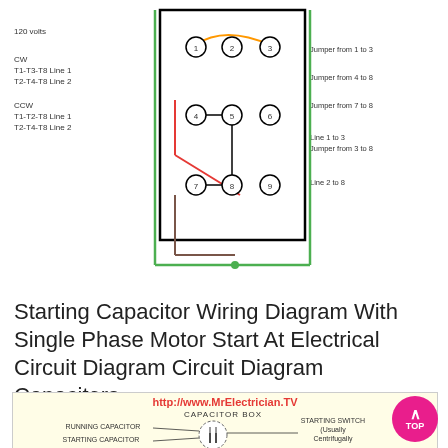[Figure (circuit-diagram): Wiring diagram for a dual-voltage motor showing terminal connections, jumper configurations (Jumper from 1 to 3, 4 to 8, 7 to 8), color-coded wires (green, red, orange, black, brown), and text labels: 120 volts, CW T1-T3-T8 Line 1 T2-T4-T8 Line 2, CCW T1-T2-T8 Line 1 T2-T4-T8 Line 2. Right side: Line 1 to 3, Jumper from 3 to 8, Line 2 to 8.]
Starting Capacitor Wiring Diagram With Single Phase Motor Start At Electrical Circuit Diagram Circuit Diagram Capacitors
[Figure (circuit-diagram): Capacitor box wiring diagram from MrElectrician.TV showing: CAPACITOR BOX with RUNNING CAPACITOR and STARTING CAPACITOR inside dashed circle, STARTING SWITCH (Usually Centrifugally Operated) on right side. Partial motor diagram visible at bottom.]